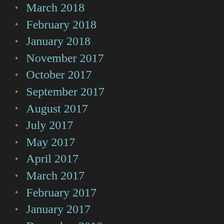March 2018
February 2018
January 2018
November 2017
October 2017
September 2017
August 2017
July 2017
May 2017
April 2017
March 2017
February 2017
January 2017
December 2016
November 2016
October 2016
September 2016